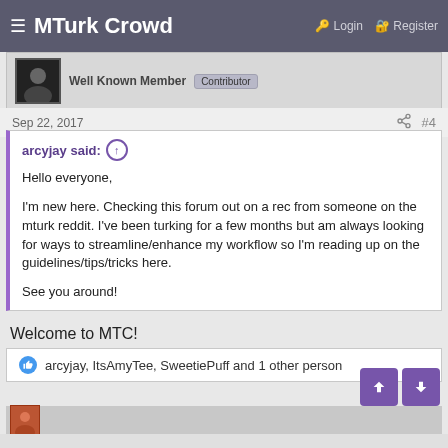MTurk Crowd  Login  Register
Well Known Member  Contributor
Sep 22, 2017  #4
arcyjay said: ↑

Hello everyone,

I'm new here. Checking this forum out on a rec from someone on the mturk reddit. I've been turking for a few months but am always looking for ways to streamline/enhance my workflow so I'm reading up on the guidelines/tips/tricks here.

See you around!
Welcome to MTC!
arcyjay, ItsAmyTee, SweetiePuff and 1 other person